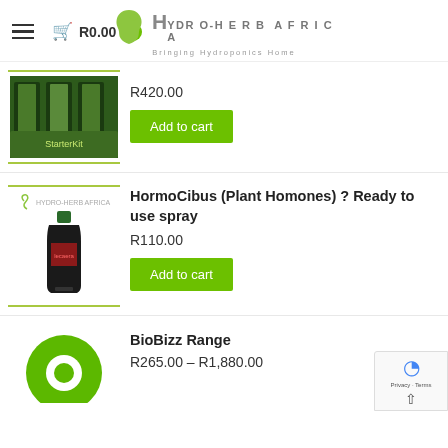Hydro-Herb Africa – Bringing Hydroponics Home | R0.00
R420.00
Add to cart
HormoCibus (Plant Homones) ? Ready to use spray
R110.00
Add to cart
BioBizz Range
R265.00 – R1,880.00